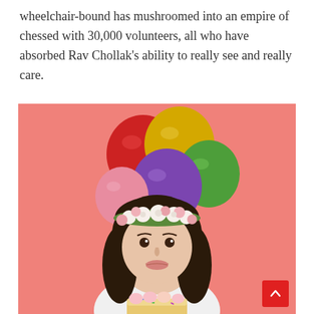wheelchair-bound has mushroomed into an empire of chessed with 30,000 volunteers, all who have absorbed Rav Chollak's ability to really see and really care.
[Figure (photo): A young girl with long dark hair wearing a floral crown (white and pink flowers) and a white shirt, holding a decorated cake with sprinkles. She is posed against a pink background holding colorful balloons — red, yellow, green, purple, and pink.]